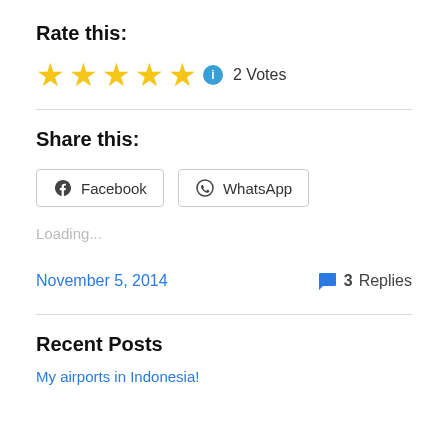Rate this:
★★★★★ ℹ 2 Votes
Share this:
Facebook  WhatsApp
Loading...
November 5, 2014
3 Replies
Recent Posts
My airports in Indonesia!